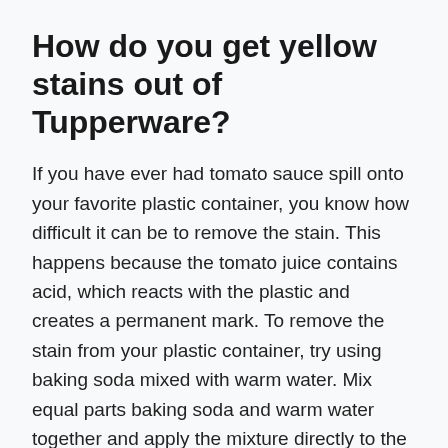How do you get yellow stains out of Tupperware?
If you have ever had tomato sauce spill onto your favorite plastic container, you know how difficult it can be to remove the stain. This happens because the tomato juice contains acid, which reacts with the plastic and creates a permanent mark. To remove the stain from your plastic container, try using baking soda mixed with warm water. Mix equal parts baking soda and warm water together and apply the mixture directly to the stained area. Let sit for about 10 minutes, then rinse off with warm water. Repeat if necessary until the stain disappears.